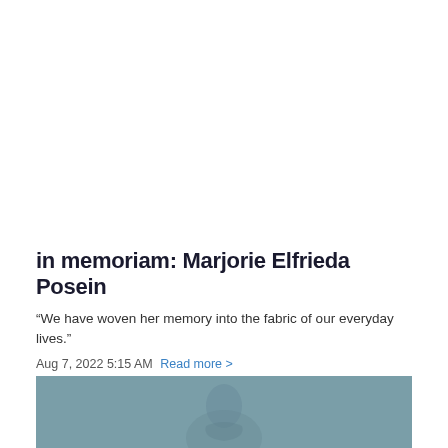in memoriam: Marjorie Elfrieda Posein
“We have woven her memory into the fabric of our everyday lives.”
Aug 7, 2022 5:15 AM Read more >
[Figure (photo): Partial photo visible at the bottom of the page, appears to show a figure or portrait in muted teal/blue tones]